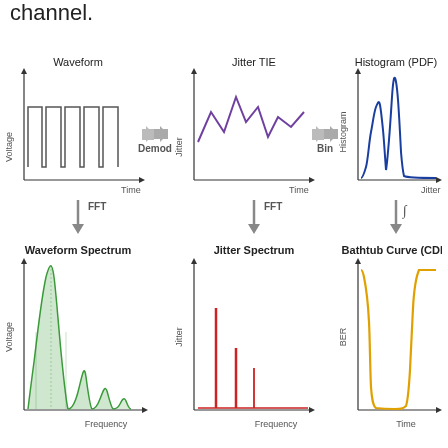channel.
[Figure (infographic): Signal processing flow diagram showing two rows of three panels each. Top row: Waveform (digital square wave, Voltage vs Time) -> Demod -> Jitter TIE (zigzag line, Jitter vs Time) -> Bin -> Histogram PDF (dual-peak blue curve, Histogram vs Jitter). Bottom row: Waveform Spectrum (green sinc-like spectrum, Voltage vs Frequency) <- FFT, Jitter Spectrum (red vertical lines, Jitter vs Frequency) <- FFT, Bathtub Curve CDF (yellow U-shape, BER vs Time) <- integral. Arrows showing FFT and integration relationships between top and bottom rows.]